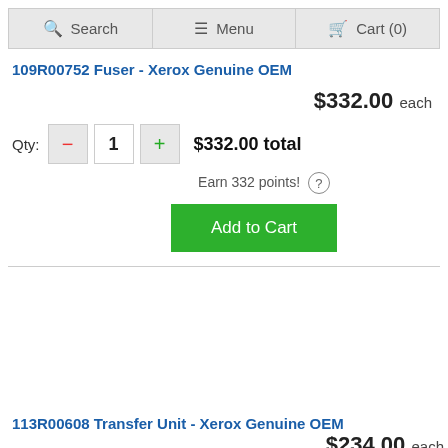Search | Menu | Cart (0)
109R00752 Fuser - Xerox Genuine OEM
$332.00 each
Qty: 1   $332.00 total
Earn 332 points!
Add to Cart
113R00608 Transfer Unit - Xerox Genuine OEM
$234.00 each